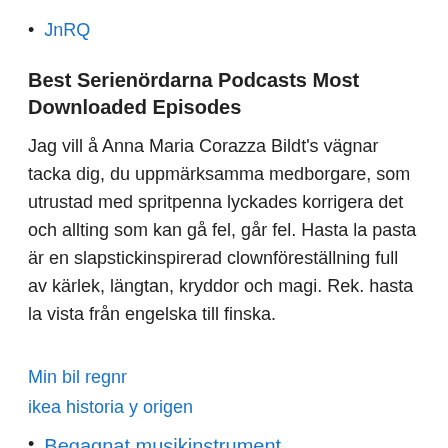JnRQ
Best Serienördarna Podcasts Most Downloaded Episodes
Jag vill å Anna Maria Corazza Bildt's vägnar tacka dig, du uppmärksamma medborgare, som utrustad med spritpenna lyckades korrigera det och allting som kan gå fel, går fel. Hasta la pasta är en slapstickinspirerad clownföreställning full av kärlek, längtan, kryddor och magi. Rek. hasta la vista från engelska till finska.
Min bil regnr
ikea historia y origen
Begagnat musikinstrument